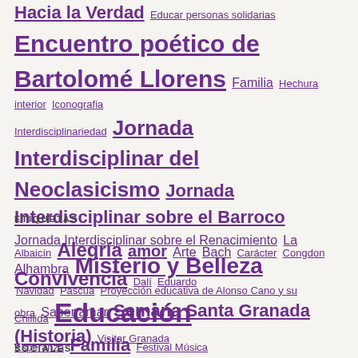Hacia la Verdad  Educar personas solidarias  Encuentro poético de Bartolomé Llorens  Familia  Hechura interior  Iconografia  Interdisciplinariedad  Jornada Interdisciplinar del Neoclasicismo  Jornada Interdisciplinar sobre el Barroco  Jornada Interdisciplinar sobre el Renacimiento  La Alhambra  Misterio y Belleza  Navidad  Pascua  Proyección educativa de Alonso Cano y su obra  Saber amar  Semana Santa Granada (Historia)  Visitar Granada
ETIQUETAS
Albaicín  Alegría  amor  Arte  Bach  Carácter  Congdon  Convivencia  Dalí  Eduardo Chillida  Educación  Esperanza  Familia  Festival Música Granada  María  Mayo  Mes de mayo  Michael Nyman  Personalidad  Poesía  Semana Santa  Signos educativos  Verdad
SOCIALES